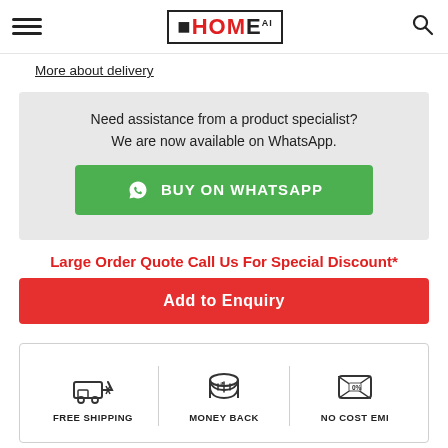HOME (logo with hamburger menu and search icon)
More about delivery
[Figure (infographic): WhatsApp banner with grey patterned background. Text reads: 'Need assistance from a product specialist? We are now available on WhatsApp.' Green button with WhatsApp icon says 'BUY ON WHATSAPP']
Large Order Quote Call Us For Special Discount*
[Figure (infographic): Red 'Add to Enquiry' button]
[Figure (infographic): Info box with three icons and labels: FREE SHIPPING, MONEY BACK, NO COST EMI]